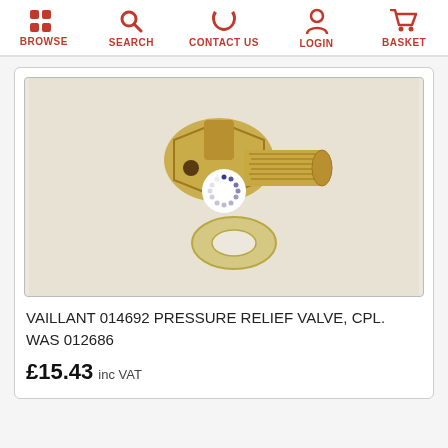BROWSE  SEARCH  CONTACT US  LOGIN  BASKET
[Figure (photo): Brass pressure relief valve component with threaded fitting and washer, photographed on beige background with loading spinner overlay]
VAILLANT 014692 PRESSURE RELIEF VALVE, CPL. WAS 012686
£15.43 inc VAT